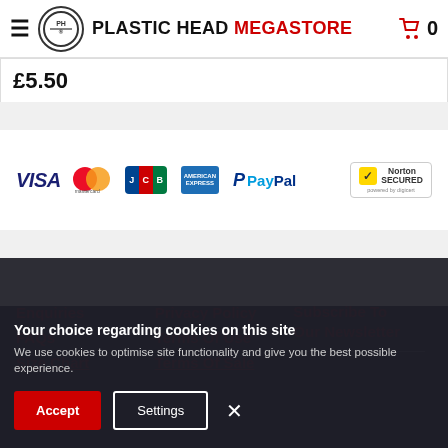Plastic Head Megastore — navigation header with cart icon showing 0
£5.50
[Figure (logo): Payment method logos: VISA, Mastercard, JCB, American Express, PayPal, Norton Secured]
Enquiries
FAQs
Size Chart
Privacy Policy
Terms Of Use
Terms Of Sale
Subscribe To Our Newsletter
Your choice regarding cookies on this site
We use cookies to optimise site functionality and give you the best possible experience.